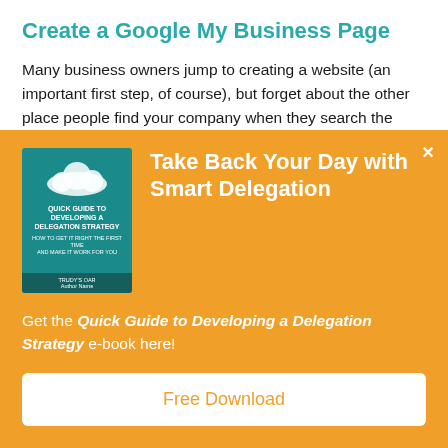Create a Google My Business Page
Many business owners jump to creating a website (an important first step, of course), but forget about the other place people find your company when they search the internet: Google listings. It's vital to create a free Google listing for your business. This ensures that when people search for your business...
[Figure (illustration): Orange popup/modal overlay with a teal book cover for 'Quick Guide to Developing a Delegation Strategy', a title 'Take Back Your Day with Smart Delegation', subtitle text, and a Free Download button.]